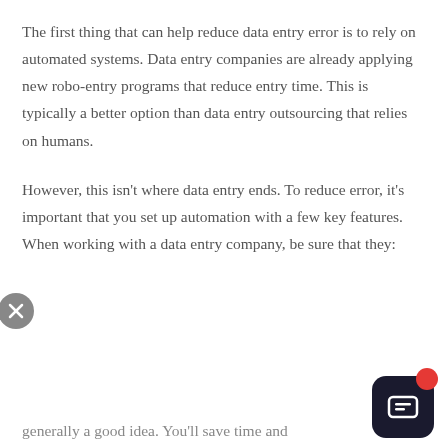The first thing that can help reduce data entry error is to rely on automated systems. Data entry companies are already applying new robo-entry programs that reduce entry time. This is typically a better option than data entry outsourcing that relies on humans.
However, this isn't where data entry ends. To reduce error, it's important that you set up automation with a few key features. When working with a data entry company, be sure that they:
[Figure (screenshot): Chat widget overlay with close button (X), avatar of a man, and bold welcome message: 'Welcome! I'm Rod and I'm here to help you if you have any questions about Consentia.' A dark rounded chat icon button is visible in the bottom right corner with a red notification dot.]
generally a good idea. You'll save time and